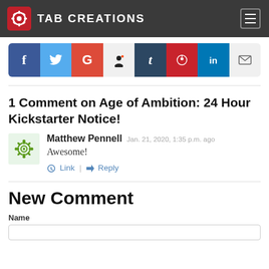TAB CREATIONS
[Figure (infographic): Social share buttons row: Facebook (f), Twitter (bird), Google (G), Reddit (alien), Tumblr (t), Pinterest (P), LinkedIn (in), Email (envelope)]
1 Comment on Age of Ambition: 24 Hour Kickstarter Notice!
Matthew Pennell Jan. 21, 2020, 1:35 p.m. ago
Awesome!
Link | Reply
New Comment
Name